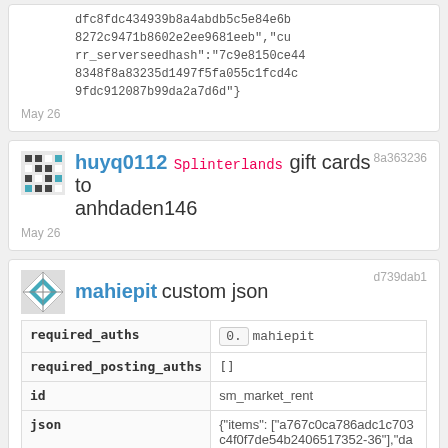dfc8fdc434939b8a4abdb5c5e84e6b8272c9471b8602e2ee9681eeb","curr_serverseedhash":"7c9e8150ce448348f8a83235d1497f5fa055c1fcd4c9fdc912087b99da2a7d6d"}
May 26
8a363236
huyq0112 Splinterlands gift cards to anhdaden146
May 26
d739dab1
mahiepit custom json
| field | value |
| --- | --- |
| required_auths | 0. mahiepit |
| required_posting_auths | [] |
| id | sm_market_rent |
| json | {"items": ["a767c0ca786adc1c703c4f0f7de54b2406517352-36"],"days":1,"currency":"DEC","limit_price":0.12,"player":"xit771","app":"splinterlands/0.7.139"} |
May 26